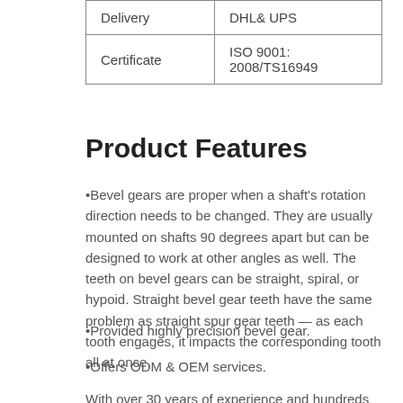| Delivery | DHL& UPS |
| Certificate | ISO 9001: 2008/TS16949 |
Product Features
•Bevel gears are proper when a shaft's rotation direction needs to be changed. They are usually mounted on shafts 90 degrees apart but can be designed to work at other angles as well. The teeth on bevel gears can be straight, spiral, or hypoid. Straight bevel gear teeth have the same problem as straight spur gear teeth — as each tooth engages, it impacts the corresponding tooth all at once.
•Provided highly precision bevel gear.
•Offers ODM & OEM services.
With over 30 years of experience and hundreds